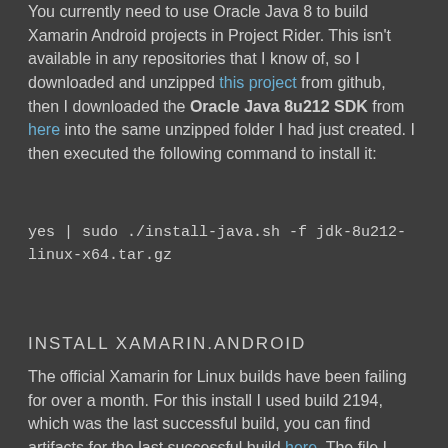You currently need to use Oracle Java 8 to build Xamarin Android projects in Project Rider. This isn't available in any repositories that I know of, so I downloaded and unzipped this project from github, then I downloaded the Oracle Java 8u212 SDK from here into the same unzipped folder I had just created. I then executed the following command to install it:
INSTALL XAMARIN.ANDROID
The official Xamarin for Linux builds have been failing for over a month. For this install I used build 2194, which was the last successful build, you can find artifacts for the last successful build here. The file I downloaded was: